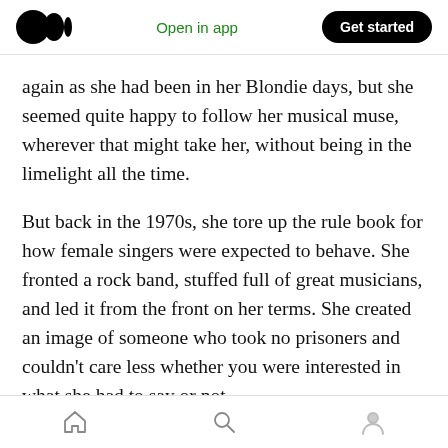Medium logo | Open in app | Get started
again as she had been in her Blondie days, but she seemed quite happy to follow her musical muse, wherever that might take her, without being in the limelight all the time.
But back in the 1970s, she tore up the rule book for how female singers were expected to behave. She fronted a rock band, stuffed full of great musicians, and led it from the front on her terms. She created an image of someone who took no prisoners and couldn't care less whether you were interested in what she had to say or not.
Home | Search | Profile